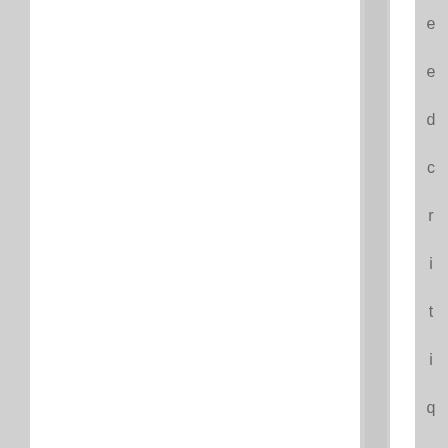e e d c r i t i q u e s l i k e t h a t t